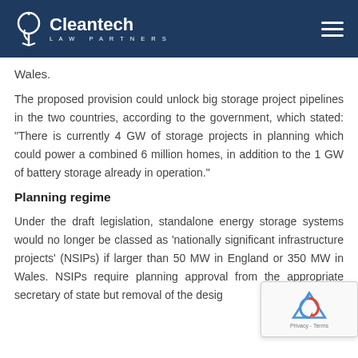Cleantech Law Partners
Wales.
The proposed provision could unlock big storage project pipelines in the two countries, according to the government, which stated: “There is currently 4 GW of storage projects in planning which could power a combined 6 million homes, in addition to the 1 GW of battery storage already in operation.”
Planning regime
Under the draft legislation, standalone energy storage systems would no longer be classed as ‘nationally significant infrastructure projects’ (NSIPs) if larger than 50 MW in England or 350 MW in Wales. NSIPs require planning approval from the appropriate secretary of state but removal of the desig…